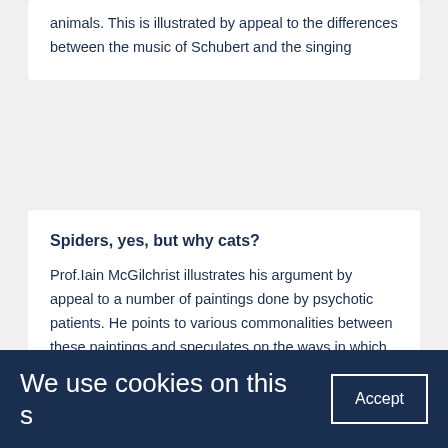animals. This is illustrated by appeal to the differences between the music of Schubert and the singing
Spiders, yes, but why cats?
Prof.Iain McGilchrist illustrates his argument by appeal to a number of paintings done by psychotic patients. He points to various commonalities between these paintings and speculates on the ways in which they support claims about the two hemispheres and
We use cookies on this